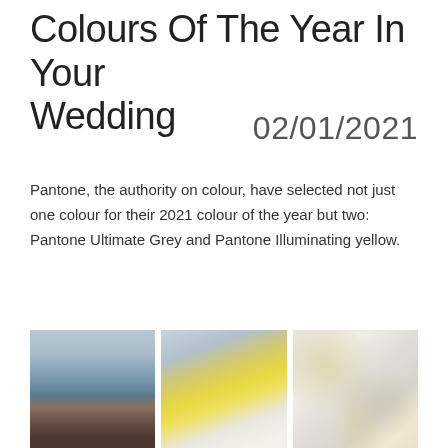Colours Of The Year In Your Wedding
02/01/2021
Pantone, the authority on colour, have selected not just one colour for their 2021 colour of the year but two: Pantone Ultimate Grey and Pantone Illuminating yellow.
[Figure (photo): Three wedding-themed photos side by side: a couple outdoors near the sea, yellow flowers and macarons on a blue-grey background, and a grey and yellow patterned fabric/textile.]